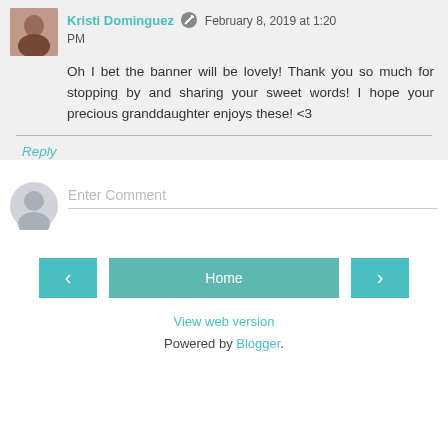Kristi Dominguez · February 8, 2019 at 1:20 PM
Oh I bet the banner will be lovely! Thank you so much for stopping by and sharing your sweet words! I hope your precious granddaughter enjoys these! <3
Reply
Enter Comment
Home
View web version
Powered by Blogger.